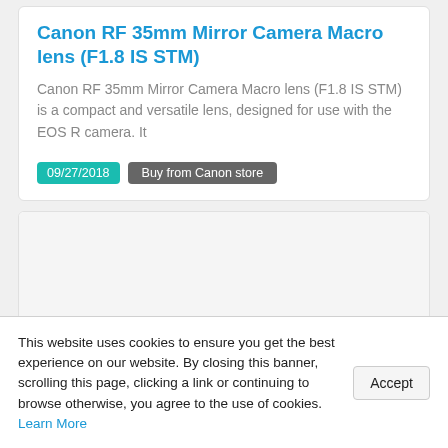Canon RF 35mm Mirror Camera Macro lens (F1.8 IS STM)
Canon RF 35mm Mirror Camera Macro lens (F1.8 IS STM) is a compact and versatile lens, designed for use with the EOS R camera. It
09/27/2018  Buy from Canon store
[Figure (photo): Empty light gray image area placeholder for Canon RF 24-105mm lens product image]
Canon RF 24–105mm Mirrorless zoom lens (F4 L IS USM)
Canon RF 24–105mm Mirrorless zoom lens (F4 L IS USM) ideal for landscapes, portraits, travel and more. It's the first L-series
This website uses cookies to ensure you get the best experience on our website. By closing this banner, scrolling this page, clicking a link or continuing to browse otherwise, you agree to the use of cookies. Learn More